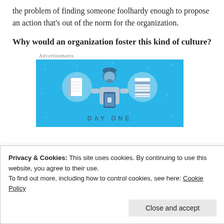the problem of finding someone foolhardy enough to propose an action that's out of the norm for the organization.
Why would an organization foster this kind of culture?
Advertisements
[Figure (illustration): Day One app advertisement on a blue background showing a person holding a phone with a notebook and a document on either side, with the text 'DAY ONE' at the bottom.]
Privacy & Cookies: This site uses cookies. By continuing to use this website, you agree to their use.
To find out more, including how to control cookies, see here: Cookie Policy
Close and accept